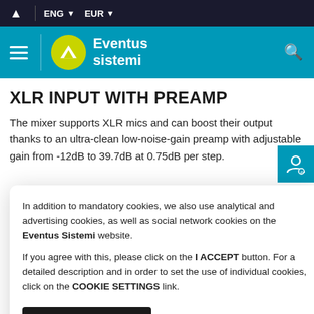ENG EUR
[Figure (logo): Eventus Sistemi logo with teal navigation bar, hamburger menu, and search icon]
XLR INPUT WITH PREAMP
The mixer supports XLR mics and can boost their output thanks to an ultra-clean low-noise-gain preamp with adjustable gain from -12dB to 39.7dB at 0.75dB per step.
In addition to mandatory cookies, we also use analytical and advertising cookies, as well as social network cookies on the Eventus Sistemi website. If you agree with this, please click on the I ACCEPT button. For a detailed description and in order to set the use of individual cookies, click on the COOKIE SETTINGS link.
I ACCEPT   Cookie Settings
Watch the Razer Audio Mixer light up to indicate volume levels or